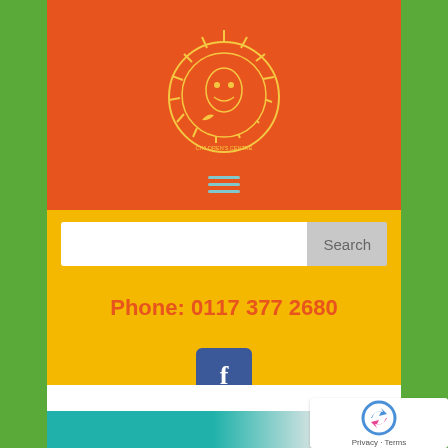[Figure (logo): Circular logo with sun rays and animal figures on orange background]
[Figure (illustration): Hamburger menu icon with three teal horizontal lines]
[Figure (screenshot): Search input bar with Search button]
Phone: 0117 377 2680
[Figure (illustration): Facebook blue square icon with white letter f]
[Figure (photo): Child wearing colorful t-shirt with text, teal/turquoise background visible]
[Figure (illustration): reCAPTCHA widget with Privacy and Terms links]